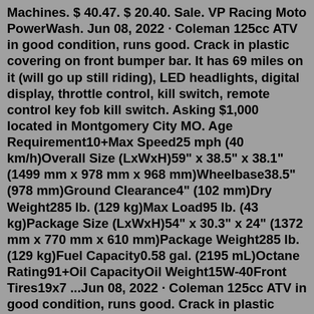Machines. $ 40.47. $ 20.40. Sale. VP Racing Moto PowerWash. Jun 08, 2022 · Coleman 125cc ATV in good condition, runs good. Crack in plastic covering on front bumper bar. It has 69 miles on it (will go up still riding), LED headlights, digital display, throttle control, kill switch, remote control key fob kill switch. Asking $1,000 located in Montgomery City MO. Age Requirement10+Max Speed25 mph (40 km/h)Overall Size (LxWxH)59" x 38.5" x 38.1" (1499 mm x 978 mm x 968 mm)Wheelbase38.5" (978 mm)Ground Clearance4" (102 mm)Dry Weight285 lb. (129 kg)Max Load95 lb. (43 kg)Package Size (LxWxH)54" x 30.3" x 24" (1372 mm x 770 mm x 610 mm)Package Weight285 lb. (129 kg)Fuel Capacity0.58 gal. (2195 mL)Octane Rating91+Oil CapacityOil Weight15W-40Front Tires19x7 ...Jun 08, 2022 · Coleman 125cc ATV in good condition, runs good. Crack in plastic covering on front bumper bar. It has 69 miles on it (will go up still riding), LED headlights, digital display, throttle control, kill switch, remote control